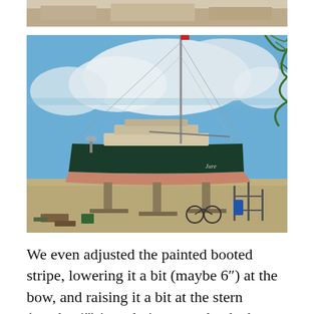[Figure (photo): Partial top edge of a photo, showing a concrete/sandy ground surface — cropped top image.]
[Figure (photo): A sailboat named 'Jure' hauled out of the water in a boatyard, propped up on stands. The hull is dark green above the waterline and pinkish/copper below. A tall mast with rigging is visible. The background shows a blue sky with clouds and palm fronds on the right. Boatyard equipment and debris are visible on the ground around the boat.]
We even adjusted the painted booted stripe, lowering it a bit (maybe 6") at the bow, and raising it a bit at the stern (maybe 4") in ordering to make the boat look a little more